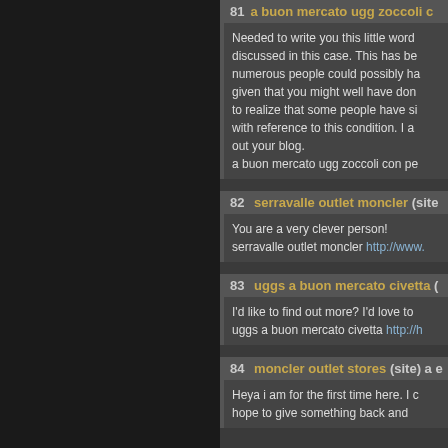81 a buon mercato ugg zoccoli c...
Needed to write you this little word... discussed in this case. This has be... numerous people could possibly ha... given that you might well have don... to realize that some people have si... with reference to this condition. I a... out your blog. a buon mercato ugg zoccoli con pe...
82 serravalle outlet moncler (site...
You are a very clever person! serravalle outlet moncler http://www...
83 uggs a buon mercato civetta (...
I'd like to find out more? I'd love to... uggs a buon mercato civetta http://h...
84 moncler outlet stores (site) a e...
Heya i am for the first time here. I c... hope to give something back and...